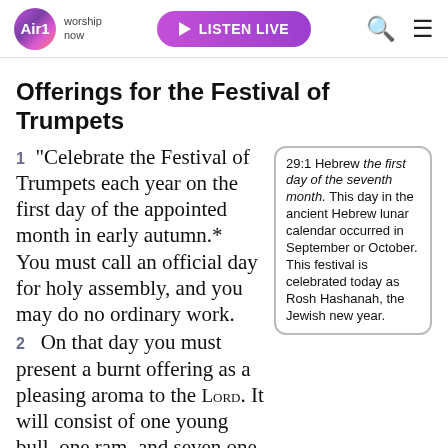Air1 worship now | LISTEN LIVE
Offerings for the Festival of Trumpets
1 "Celebrate the Festival of Trumpets each year on the first day of the appointed month in early autumn.* You must call an official day for holy assembly, and you may do no ordinary work.
29:1 Hebrew the first day of the seventh month. This day in the ancient Hebrew lunar calendar occurred in September or October. This festival is celebrated today as Rosh Hashanah, the Jewish new year.
2  On that day you must present a burnt offering as a pleasing aroma to the LORD. It will consist of one young bull, one ram, and seven one-year-old